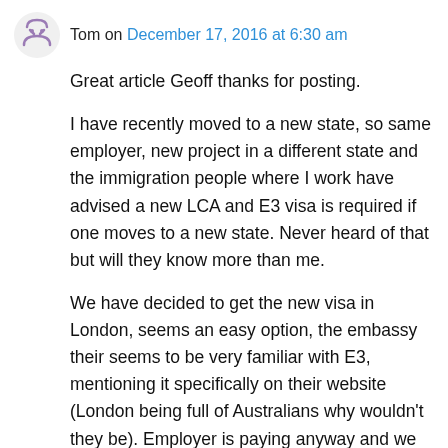Tom on December 17, 2016 at 6:30 am
Great article Geoff thanks for posting.
I have recently moved to a new state, so same employer, new project in a different state and the immigration people where I work have advised a new LCA and E3 visa is required if one moves to a new state. Never heard of that but will they know more than me.
We have decided to get the new visa in London, seems an easy option, the embassy their seems to be very familiar with E3, mentioning it specifically on their website (London being full of Australians why wouldn't they be). Employer is paying anyway and we can fly direct to LHR from Charlotte.